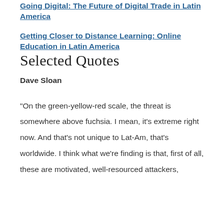Going Digital: The Future of Digital Trade in Latin America
Getting Closer to Distance Learning: Online Education in Latin America
Selected Quotes
Dave Sloan
"On the green-yellow-red scale, the threat is somewhere above fuchsia. I mean, it's extreme right now. And that's not unique to Lat-Am, that's worldwide. I think what we're finding is that, first of all, these are motivated, well-resourced attackers,